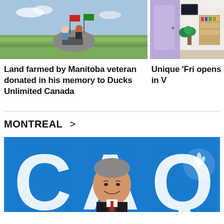[Figure (photo): Photo of people on a rock monument with flags in a field, Manitoba veteran memorial]
[Figure (photo): Photo of a room interior, partially visible, purple/lavender wall]
Land farmed by Manitoba veteran donated in his memory to Ducks Unlimited Canada
Unique 'Fri opens in V
MONTREAL >
[Figure (photo): Photo of a man in front of CAQ (Coalition Avenir Quebec) blue backdrop with large CAQ letters and fleur-de-lis logo]